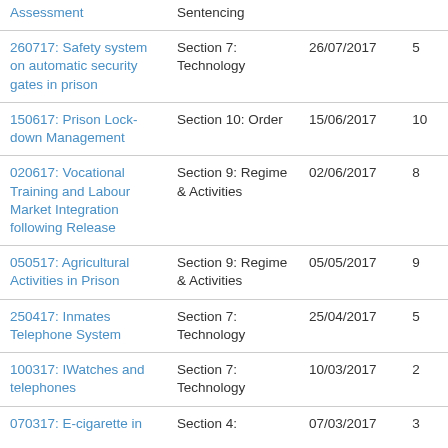| Title | Section | Date | # |
| --- | --- | --- | --- |
| Assessment | Sentencing |  |  |
| 260717: Safety system on automatic security gates in prison | Section 7: Technology | 26/07/2017 | 5 |
| 150617: Prison Lock-down Management | Section 10: Order | 15/06/2017 | 10 |
| 020617: Vocational Training and Labour Market Integration following Release | Section 9: Regime & Activities | 02/06/2017 | 8 |
| 050517: Agricultural Activities in Prison | Section 9: Regime & Activities | 05/05/2017 | 9 |
| 250417: Inmates Telephone System | Section 7: Technology | 25/04/2017 | 5 |
| 100317: IWatches and telephones | Section 7: Technology | 10/03/2017 | 2 |
| 070317: E-cigarette in | Section 4: | 07/03/2017 | 3 |